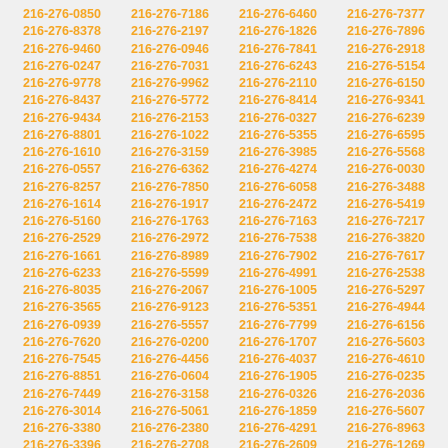216-276-0850 216-276-7186 216-276-6460 216-276-7377 216-276-8378 216-276-2197 216-276-1826 216-276-7896 216-276-9460 216-276-0946 216-276-7841 216-276-2918 216-276-0247 216-276-7031 216-276-6243 216-276-5154 216-276-9778 216-276-9962 216-276-2110 216-276-6150 216-276-8437 216-276-5772 216-276-8414 216-276-9341 216-276-9434 216-276-2153 216-276-0327 216-276-6239 216-276-8801 216-276-1022 216-276-5355 216-276-6595 216-276-1610 216-276-3159 216-276-3985 216-276-5568 216-276-0557 216-276-6362 216-276-4274 216-276-0030 216-276-8257 216-276-7850 216-276-6058 216-276-3488 216-276-1614 216-276-1917 216-276-2472 216-276-5419 216-276-5160 216-276-1763 216-276-7163 216-276-7217 216-276-2529 216-276-2972 216-276-7538 216-276-3820 216-276-1661 216-276-8989 216-276-7902 216-276-7617 216-276-6233 216-276-5599 216-276-4991 216-276-2538 216-276-8035 216-276-2067 216-276-1005 216-276-5297 216-276-3565 216-276-9123 216-276-5351 216-276-4944 216-276-0939 216-276-5557 216-276-7799 216-276-6156 216-276-7620 216-276-0200 216-276-1707 216-276-5603 216-276-7545 216-276-4456 216-276-4037 216-276-4610 216-276-8851 216-276-0604 216-276-1905 216-276-0235 216-276-7449 216-276-3158 216-276-0326 216-276-2036 216-276-3014 216-276-5061 216-276-1859 216-276-5607 216-276-3380 216-276-2380 216-276-4291 216-276-8963 216-276-3396 216-276-2708 216-276-2609 216-276-1269 216-276-0130 216-276-5189 216-276-7561 216-276-8907 216-276-4648 216-276-7618 216-276-5239 216-276-7250 216-276-0614 216-276-3793 216-276-3790 216-276-3766 216-276-8215 216-276-9789 216-276-8019 216-276-7695